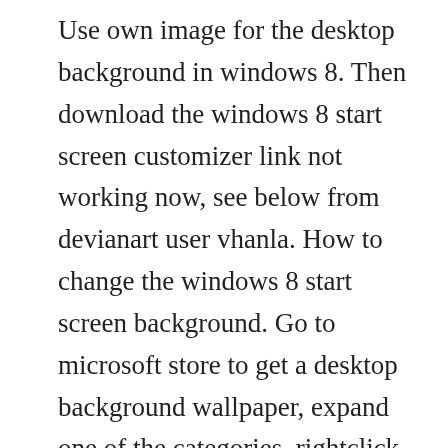Use own image for the desktop background in windows 8. Then download the windows 8 start screen customizer link not working now, see below from devianart user vhanla. How to change the windows 8 start screen background. Go to microsoft store to get a desktop background wallpaper, expand one of the categories, rightclick the image, and then click set as background. Download weather desktop background changer for windows 10,7. May 29, 20 how to change windows 8 desktop background photography website followers from facebook. From above...